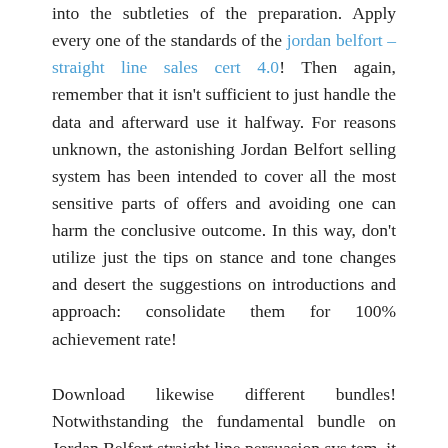into the subtleties of the preparation. Apply every one of the standards of the jordan belfort – straight line sales cert 4.0! Then again, remember that it isn't sufficient to just handle the data and afterward use it halfway. For reasons unknown, the astonishing Jordan Belfort selling system has been intended to cover all the most sensitive parts of offers and avoiding one can harm the conclusive outcome. In this way, don't utilize just the tips on stance and tone changes and desert the suggestions on introductions and approach: consolidate them for 100% achievement rate!
Download likewise different bundles! Notwithstanding the fundamental bundle on Jordan Belfort straight line persuasion sys.tem, it would be a smart thought to download additionally Jordan Belfort straight line deals brain science and therefore improve considerably more deals. It appears that every item centers around a specific viewpoint so it wouldn't be such a poorly conceived notion to cover whatever number angles as could be expected under the circumstances: from how to construct a fruitful introduction